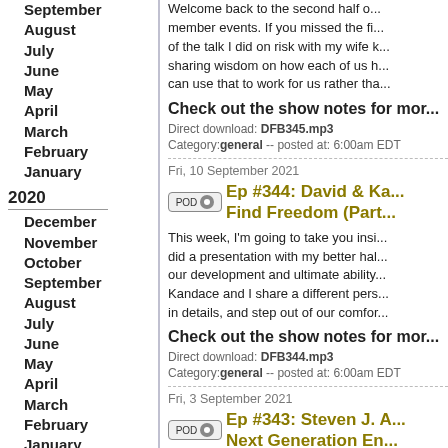September
August
July
June
May
April
March
February
January
2020
December
November
October
September
August
July
June
May
April
March
February
January
2019
December
November
October
September
August
July
June
May
Welcome back to the second half of... member events. If you missed the fi... of the talk I did on risk with my wife k... sharing wisdom on how each of us h... can use that to work for us rather tha...
Check out the show notes for mor...
Direct download: DFB345.mp3
Category: general -- posted at: 6:00am EDT
Fri, 10 September 2021
Ep #344: David & Ka... Find Freedom (Part...
This week, I'm going to take you insi... did a presentation with my better hal... our development and ultimate ability... Kandace and I share a different pers... in details, and step out of our comfor...
Check out the show notes for mor...
Direct download: DFB344.mp3
Category: general -- posted at: 6:00am EDT
Fri, 3 September 2021
Ep #343: Steven J. A... Next Generation En...
Steven J. Anderson is back on the p...